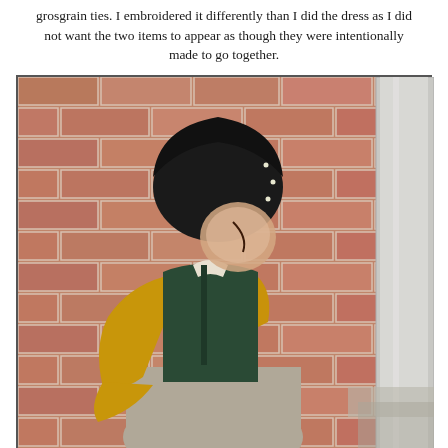grosgrain ties. I embroidered it differently than I did the dress as I did not want the two items to appear as though they were intentionally made to go together.
[Figure (photo): A child viewed from behind, wearing a dark green dress over a yellow/mustard long-sleeved blouse with bell sleeves, a grey skirt, and a black bonnet with embroidery. The child is standing against a red brick wall next to a white column/pillar. The child's face is blurred/obscured for privacy.]